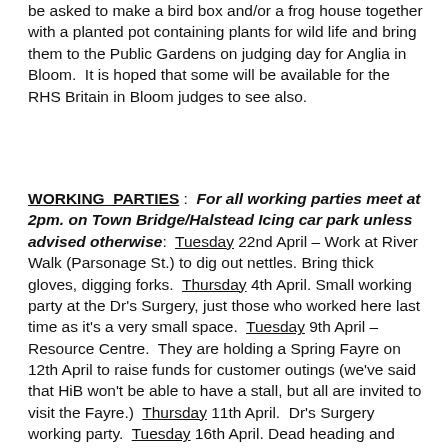be asked to make a bird box and/or a frog house together with a planted pot containing plants for wild life and bring them to the Public Gardens on judging day for Anglia in Bloom.  It is hoped that some will be available for the RHS Britain in Bloom judges to see also.
WORKING PARTIES :  For all working parties meet at 2pm. on Town Bridge/Halstead Icing car park unless advised otherwise:  Tuesday 22nd April – Work at River Walk (Parsonage St.) to dig out nettles. Bring thick gloves, digging forks.  Thursday 4th April. Small working party at the Dr's Surgery, just those who worked here last time as it's a very small space.  Tuesday 9th April – Resource Centre.  They are holding a Spring Fayre on 12th April to raise funds for customer outings (we've said that HiB won't be able to have a stall, but all are invited to visit the Fayre.)  Thursday 11th April.  Dr's Surgery working party.  Tuesday 16th April. Dead heading and weeding at Solar area.  No working party on